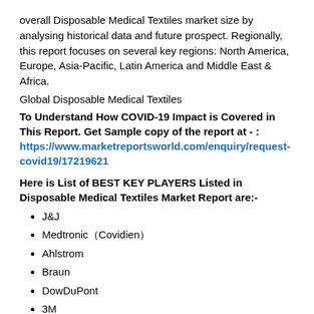overall Disposable Medical Textiles market size by analysing historical data and future prospect. Regionally, this report focuses on several key regions: North America, Europe, Asia-Pacific, Latin America and Middle East & Africa.
Global Disposable Medical Textiles
To Understand How COVID-19 Impact is Covered in This Report. Get Sample copy of the report at - : https://www.marketreportsworld.com/enquiry/request-covid19/17219621
Here is List of BEST KEY PLAYERS Listed in Disposable Medical Textiles Market Report are:-
J&J
Medtronic（Covidien）
Ahlstrom
Braun
DowDuPont
3M
Cardinal Health
KOB